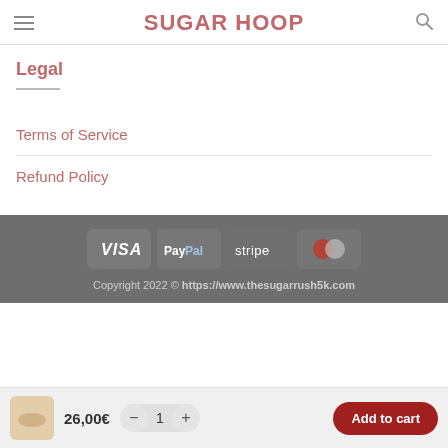SUGAR HOOP
Legal
Terms of Service
Refund Policy
[Figure (logo): Payment method badges: VISA, PayPal, stripe, MasterCard]
Copyright 2022 © https://www.thesugarrush5k.com